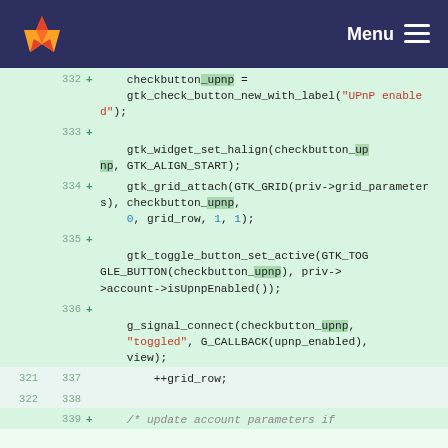Menu
[Figure (screenshot): GitLab code diff view showing lines 332-339 of a C source file with added lines highlighted in green]
332 + checkbutton_upnp = gtk_check_button_new_with_label("UPnP enabled");
333 + gtk_widget_set_halign(checkbutton_upnp, GTK_ALIGN_START);
334 + gtk_grid_attach(GTK_GRID(priv->grid_parameters), checkbutton_upnp, 0, grid_row, 1, 1);
335 + gtk_toggle_button_set_active(GTK_TOGGLE_BUTTON(checkbutton_upnp), priv->account->isUpnpEnabled());
336 + g_signal_connect(checkbutton_upnp, "toggled", G_CALLBACK(upnp_enabled), view);
321 337     ++grid_row;
322 338
339 +     /* update account parameters if